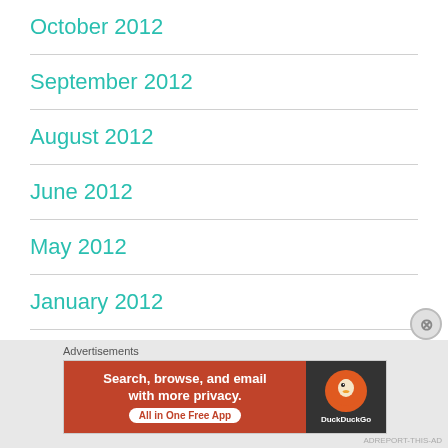October 2012
September 2012
August 2012
June 2012
May 2012
January 2012
December 2011
Advertisements
[Figure (other): DuckDuckGo advertisement banner: Search, browse, and email with more privacy. All in One Free App]